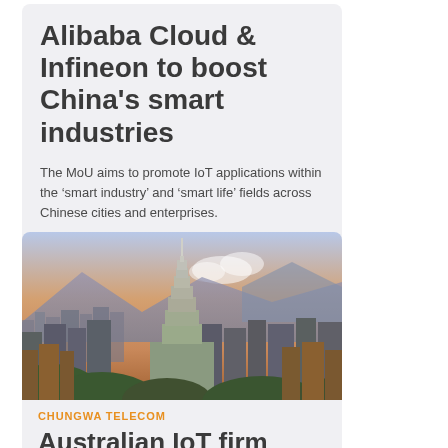Alibaba Cloud & Infineon to boost China's smart industries
The MoU aims to promote IoT applications within the ‘smart industry’ and ‘smart life’ fields across Chinese cities and enterprises.
[Figure (photo): Aerial cityscape photo showing a tall skyscraper (Taipei 101) surrounded by dense urban buildings under a warm sunset sky.]
CHUNGWA TELECOM
Australian IoT firm